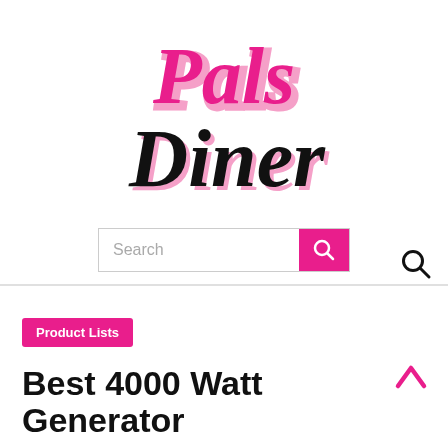[Figure (logo): Pals Diner logo in pink and black cursive/script lettering]
[Figure (screenshot): Search bar with pink search button and magnifying glass icon]
[Figure (other): Search magnifying glass icon in top right area]
Product Lists
Best 4000 Watt Generator